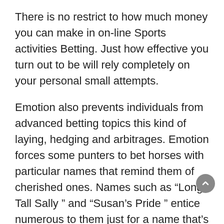There is no restrict to how much money you can make in on-line Sports activities Betting. Just how effective you turn out to be will rely completely on your personal small attempts.
Emotion also prevents individuals from advanced betting topics this kind of laying, hedging and arbitrages. Emotion forces some punters to bet horses with particular names that remind them of cherished ones. Names such as “Long Tall Sally ” and “Susan’s Pride ” entice numerous to them just for a name that’s related to them. Most punters have a grudge towards their personal cash and successful and becoming successful is alien to them. Psychological punters lose their heads in barren occasions and fall short to capitalise on successful operates. They mess about with methods and staking ideas that make no feeling.
Then you will require to established revenue targets and quit reduction triggers to control the movement of money. This will allow you to strategy for each the best